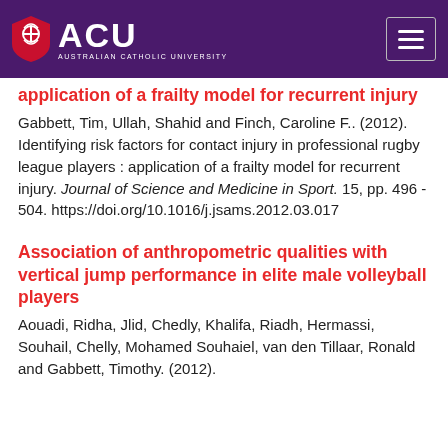[Figure (logo): Australian Catholic University (ACU) logo with shield and hamburger menu on purple background header bar]
application of a frailty model for recurrent injury
Gabbett, Tim, Ullah, Shahid and Finch, Caroline F.. (2012). Identifying risk factors for contact injury in professional rugby league players : application of a frailty model for recurrent injury. Journal of Science and Medicine in Sport. 15, pp. 496 - 504. https://doi.org/10.1016/j.jsams.2012.03.017
Association of anthropometric qualities with vertical jump performance in elite male volleyball players
Aouadi, Ridha, Jlid, Chedly, Khalifa, Riadh, Hermassi, Souhail, Chelly, Mohamed Souhaiel, van den Tillaar, Ronald and Gabbett, Timothy. (2012).